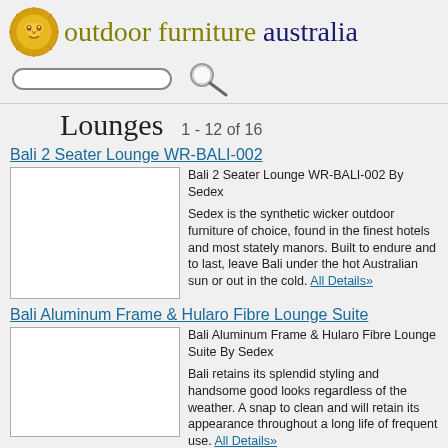outdoor furniture australia
Lounges  1 - 12 of 16
Bali 2 Seater Lounge WR-BALI-002
[Figure (photo): Product image placeholder for Bali 2 Seater Lounge WR-BALI-002]
Bali 2 Seater Lounge WR-BALI-002 By Sedex

Sedex is the synthetic wicker outdoor furniture of choice, found in the finest hotels and most stately manors. Built to endure and to last, leave Bali under the hot Australian sun or out in the cold. All Details»
Bali Aluminum Frame & Hularo Fibre Lounge Suite
[Figure (photo): Product image placeholder for Bali Aluminum Frame & Hularo Fibre Lounge Suite]
Bali Aluminum Frame & Hularo Fibre Lounge Suite By Sedex

Bali retains its splendid styling and handsome good looks regardless of the weather. A snap to clean and will retain its appearance throughout a long life of frequent use. All Details»
Bali Lounge Chair WR-BALI-001